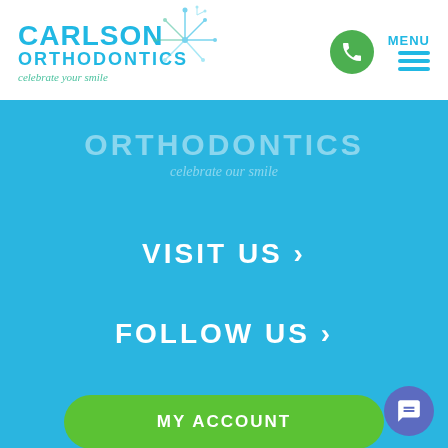[Figure (logo): Carlson Orthodontics logo with fireworks decoration and tagline 'celebrate your smile']
MENU
[Figure (illustration): Faded Carlson Orthodontics logo watermark on blue background with text 'ORTHODONTICS celebrate our smile']
VISIT US  ›
FOLLOW US  ›
MY ACCOUNT
PATIENT REWARDS HUB